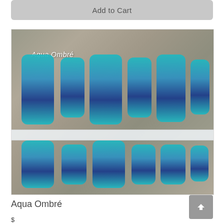Add to Cart
[Figure (photo): Aqua Ombré nail wraps displayed on a wood background, showing two rows of nail-shaped strips with a teal-to-navy ombre gradient and subtle sparkle. Top row has larger nails, bottom row has smaller nails. White label text 'Aqua Ombré' overlaid on the top-left of the image.]
Aqua Ombré